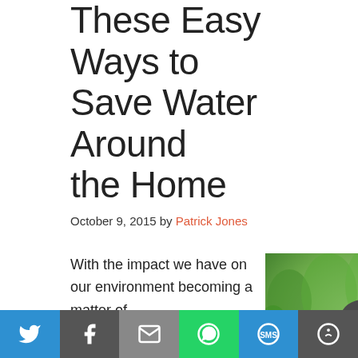Friendly Upgrade: Try These Easy Ways to Save Water Around the Home
October 9, 2015 by Patrick Jones
With the impact we have on our environment becoming a matter of
[Figure (photo): Outdoor water faucet running with green bokeh background]
Social share bar with Twitter, Facebook, Email, WhatsApp, SMS, More buttons